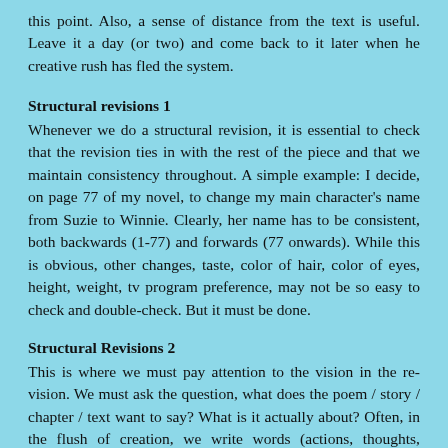this point. Also, a sense of distance from the text is useful. Leave it a day (or two) and come back to it later when he creative rush has fled the system.
Structural revisions 1
Whenever we do a structural revision, it is essential to check that the revision ties in with the rest of the piece and that we maintain consistency throughout. A simple example: I decide, on page 77 of my novel, to change my main character's name from Suzie to Winnie. Clearly, her name has to be consistent, both backwards (1-77) and forwards (77 onwards). While this is obvious, other changes, taste, color of hair, color of eyes, height, weight, tv program preference, may not be so easy to check and double-check. But it must be done.
Structural Revisions 2
This is where we must pay attention to the vision in the re-vision. We must ask the question, what does the poem / story / chapter / text want to say? What is it actually about? Often, in the flush of creation, we write words (actions, thoughts, emotions) on the page and they flow like water from a